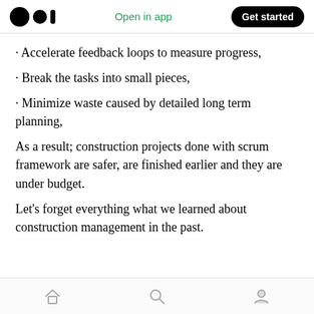Medium logo | Open in app | Get started
· Accelerate feedback loops to measure progress,
· Break the tasks into small pieces,
· Minimize waste caused by detailed long term planning,
As a result; construction projects done with scrum framework are safer, are finished earlier and they are under budget.
Let's forget everything what we learned about construction management in the past.
Home | Search | Profile